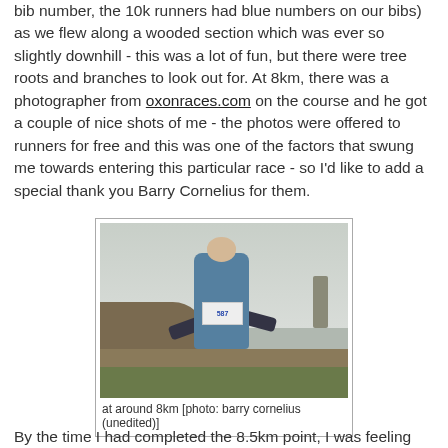bib number, the 10k runners had blue numbers on our bibs) as we flew along a wooded section which was ever so slightly downhill - this was a lot of fun, but there were tree roots and branches to look out for. At 8km, there was a photographer from oxonraces.com on the course and he got a couple of nice shots of me - the photos were offered to runners for free and this was one of the factors that swung me towards entering this particular race - so I'd like to add a special thank you Barry Cornelius for them.
[Figure (photo): A runner wearing bib number 587 in a blue and grey striped vest running along a path, with a hedgerow to the left and misty countryside in the background.]
at around 8km [photo: barry cornelius (unedited)]
By the time I had completed the 8.5km point, I was feeling